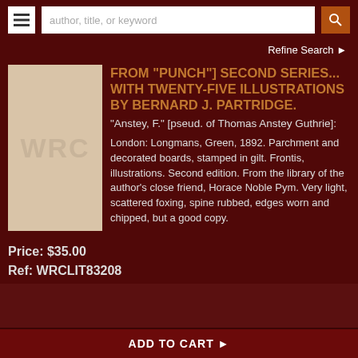[Figure (logo): WRC logo placeholder — beige square with WRC text]
FROM "PUNCH"] SECOND SERIES... WITH TWENTY-FIVE ILLUSTRATIONS BY BERNARD J. PARTRIDGE.
"Anstey, F." [pseud. of Thomas Anstey Guthrie]:
London: Longmans, Green, 1892. Parchment and decorated boards, stamped in gilt. Frontis, illustrations. Second edition. From the library of the author's close friend, Horace Noble Pym. Very light, scattered foxing, spine rubbed, edges worn and chipped, but a good copy.
Price: $35.00
Ref: WRCLIT83208
ADD TO CART